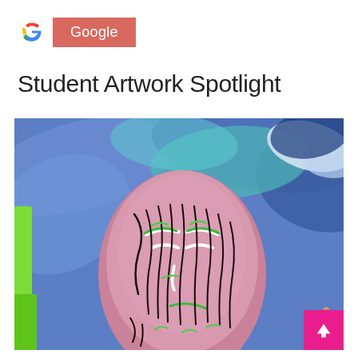Google
Student Artwork Spotlight
[Figure (photo): A close-up photo of a student painting showing a face with closed eyes rendered in pink/mauve tones, with loose expressive brushwork. Green and black line details on the face, set against a vibrant blue background with swirling brushstrokes. A bright green element is visible on the left edge. A pink 'back to top' button with an upward arrow appears in the lower right corner.]